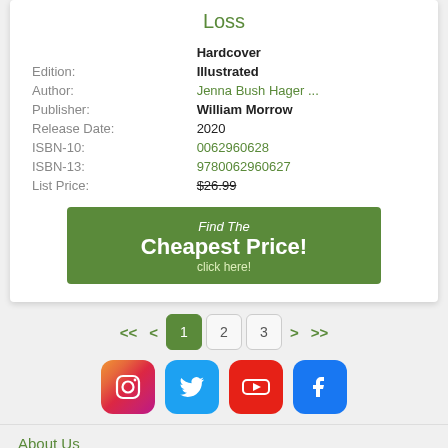Loss
| Field | Value |
| --- | --- |
|  | Hardcover |
| Edition: | Illustrated |
| Author: | Jenna Bush Hager ... |
| Publisher: | William Morrow |
| Release Date: | 2020 |
| ISBN-10: | 0062960628 |
| ISBN-13: | 9780062960627 |
| List Price: | $26.99 |
Find The Cheapest Price! click here!
<< < 1 2 3 > >>
[Figure (other): Social media icons: Instagram, Twitter, YouTube, Facebook]
About Us
Link to our site
Suggestions